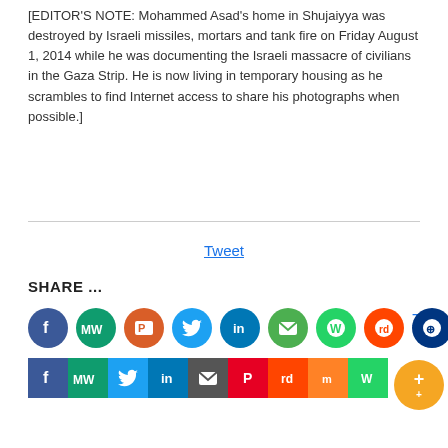[EDITOR'S NOTE: Mohammed Asad's home in Shujaiyya was destroyed by Israeli missiles, mortars and tank fire on Friday August 1, 2014 while he was documenting the Israeli massacre of civilians in the Gaza Strip. He is now living in temporary housing as he scrambles to find Internet access to share his photographs when possible.]
Tweet
SHARE ...
[Figure (infographic): Social media share buttons: Facebook, MeWe, Parler/other, Twitter, LinkedIn, Email, WhatsApp, Reddit, and a globe/people icon in circular style (top row), and square versions of Facebook, MeWe, Twitter, LinkedIn, Email, Pinterest, Reddit, Mix, WhatsApp (bottom row). Also a Tweet button and an orange plus/add button on the right.]